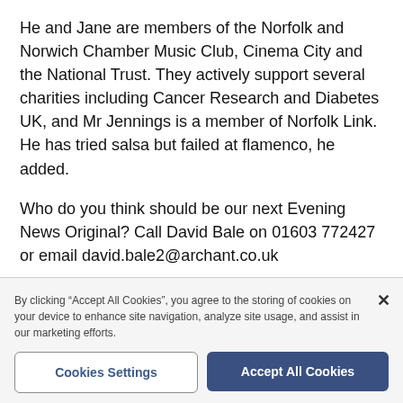He and Jane are members of the Norfolk and Norwich Chamber Music Club, Cinema City and the National Trust. They actively support several charities including Cancer Research and Diabetes UK, and Mr Jennings is a member of Norfolk Link. He has tried salsa but failed at flamenco, he added.
Who do you think should be our next Evening News Original? Call David Bale on 01603 772427 or email david.bale2@archant.co.uk
By clicking “Accept All Cookies”, you agree to the storing of cookies on your device to enhance site navigation, analyze site usage, and assist in our marketing efforts.
Cookies Settings
Accept All Cookies